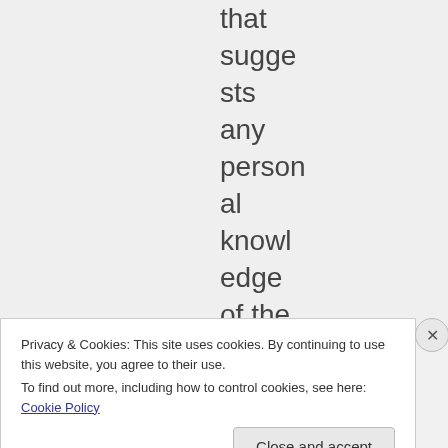that suggests any personal knowledge of the subjec
Privacy & Cookies: This site uses cookies. By continuing to use this website, you agree to their use.
To find out more, including how to control cookies, see here: Cookie Policy
Close and accept